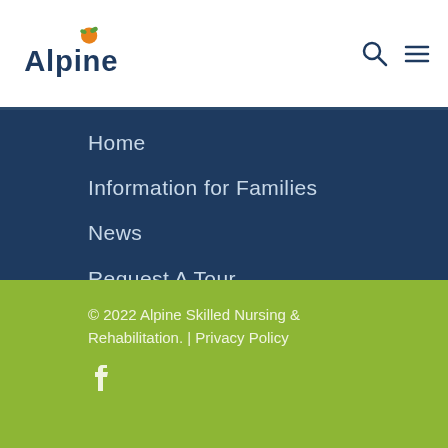Alpine Skilled Nursing & Rehabilitation
Home
Information for Families
News
Request A Tour
Reviews
Services
© 2022 Alpine Skilled Nursing & Rehabilitation.  |  Privacy Policy